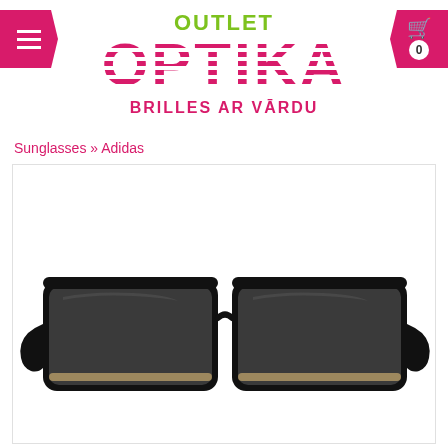[Figure (logo): Outlet Optika logo with green OUTLET text, pink striped OPTIKA text, and pink BRILLES AR VĀRDU tagline]
Sunglasses » Adidas
[Figure (photo): Adidas sunglasses with black frame and dark gray lenses on white background]